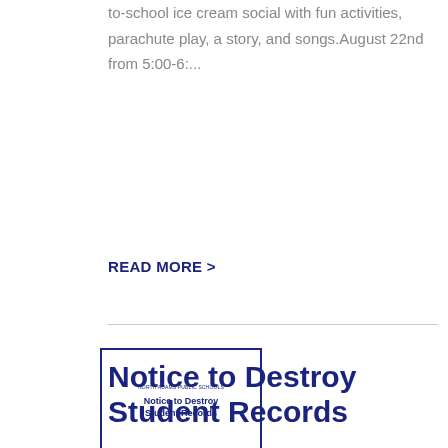to-school ice cream social with fun activities, parachute play, a story, and songs.August 22nd from 5:00-6:...
READ MORE >
[Figure (other): Thumbnail image showing a document titled 'Notice to Destroy Student Records' with a blue border and North Adams Public Schools header]
Notice to Destroy Student Records
NOTICE: Per district policy, North Adams Public Schools Special EducationStudent Records will be destroyed 7 years from the date students graduate, age out,drop out, or move out of...